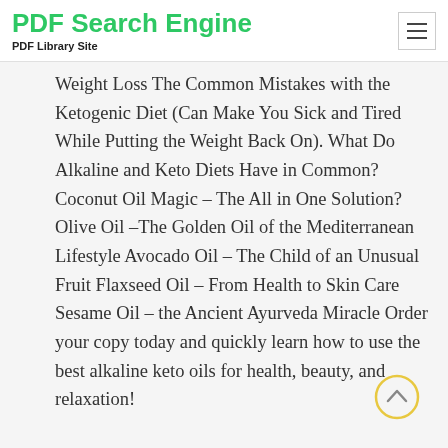PDF Search Engine
PDF Library Site
Weight Loss The Common Mistakes with the Ketogenic Diet (Can Make You Sick and Tired While Putting the Weight Back On). What Do Alkaline and Keto Diets Have in Common? Coconut Oil Magic – The All in One Solution? Olive Oil –The Golden Oil of the Mediterranean Lifestyle Avocado Oil – The Child of an Unusual Fruit Flaxseed Oil – From Health to Skin Care Sesame Oil – the Ancient Ayurveda Miracle Order your copy today and quickly learn how to use the best alkaline keto oils for health, beauty, and relaxation!